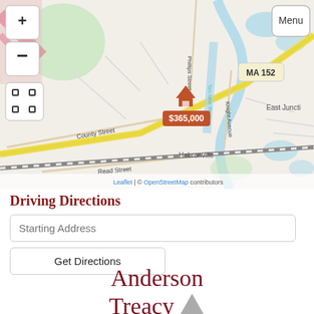[Figure (map): OpenStreetMap showing property location near Hebronville, MA. Shows roads including County Street, Read Street, Phillips Street, Ten Mile River, Knight Avenue, MA 152. Property marker shows $365,000. East Juncti visible at right. Map controls: + zoom in, - zoom out, fullscreen button, Menu button. Attribution: Leaflet | © OpenStreetMap contributors.]
Driving Directions
Starting Address
Get Directions
[Figure (logo): Anderson Treacy logo with gray mountain/triangle icon]